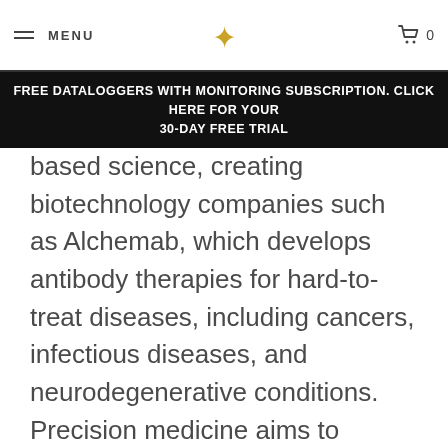MENU | [logo] | 0
FREE DATALOGGERS WITH MONITORING SUBSCRIPTION. CLICK HERE FOR YOUR 30-DAY FREE TRIAL
based science, creating biotechnology companies such as Alchemab, which develops antibody therapies for hard-to-treat diseases, including cancers, infectious diseases, and neurodegenerative conditions. Precision medicine aims to deliver major, durable impact on drug safety and efficacy by providing patients with therapeutics targeted